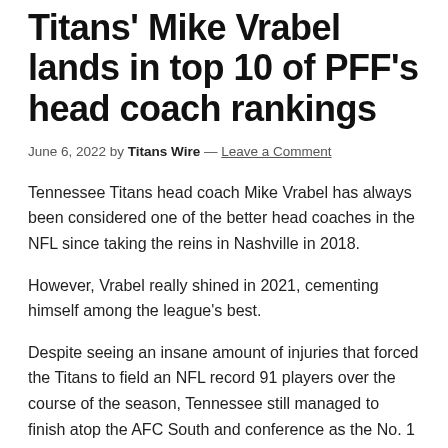Titans' Mike Vrabel lands in top 10 of PFF's head coach rankings
June 6, 2022 by Titans Wire — Leave a Comment
Tennessee Titans head coach Mike Vrabel has always been considered one of the better head coaches in the NFL since taking the reins in Nashville in 2018.
However, Vrabel really shined in 2021, cementing himself among the league's best.
Despite seeing an insane amount of injuries that forced the Titans to field an NFL record 91 players over the course of the season, Tennessee still managed to finish atop the AFC South and conference as the No. 1 seed.